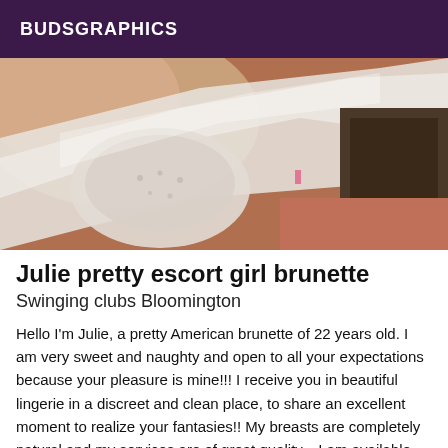BUDSGRAPHICS
[Figure (photo): Close-up photo of a person in white lace lingerie, partially covered by white fabric, with a reddish-brown floor and dark furniture in the background.]
Julie pretty escort girl brunette
Swinging clubs Bloomington
Hello I'm Julie, a pretty American brunette of 22 years old. I am very sweet and naughty and open to all your expectations because your pleasure is mine!!! I receive you in beautiful lingerie in a discreet and clean place, to share an excellent moment to realize your fantasies!! My breasts are completely natural and my services are of great quality... I am available during the day If I don't